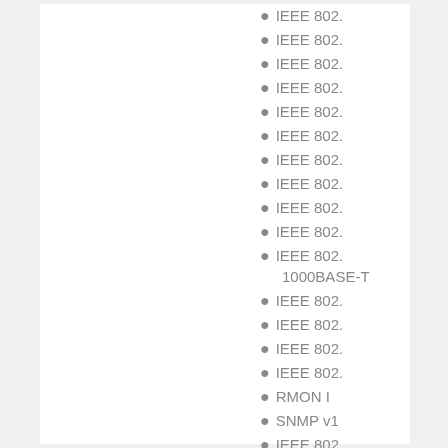Стандарты:
IEEE 802.
IEEE 802.
IEEE 802.
IEEE 802.
IEEE 802.
IEEE 802.
IEEE 802.
IEEE 802.
IEEE 802.
IEEE 802.
IEEE 802. 1000BASE-T
IEEE 802.
IEEE 802.
IEEE 802.
IEEE 802.
RMON I
SNMP v1
IEEE 802.
IEEE 802.
IEEE 802.